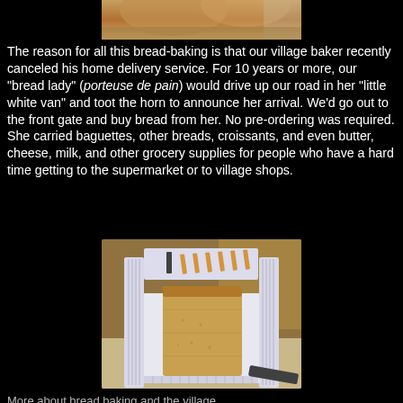[Figure (photo): Partial photo of bread at the top of the page]
The reason for all this bread-baking is that our village baker recently canceled his home delivery service. For 10 years or more, our "bread lady" (porteuse de pain) would drive up our road in her "little white van" and toot the horn to announce her arrival. We'd go out to the front gate and buy bread from her. No pre-ordering was required. She carried baguettes, other breads, croissants, and even butter, cheese, milk, and other grocery supplies for people who have a hard time getting to the supermarket or to village shops.
[Figure (photo): Photo of a white plastic bread slicing guide/loaf slicer holding a sliced loaf of whole wheat bread, with a knife visible in the background on a kitchen counter]
More text continues below...